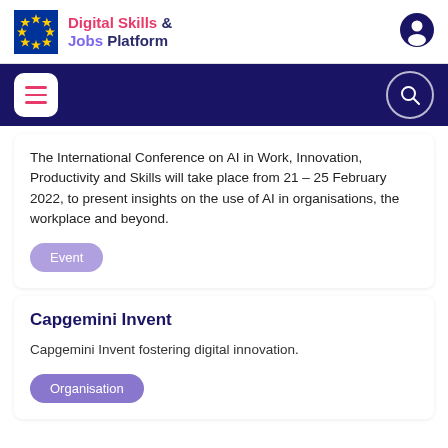Digital Skills & Jobs Platform
The International Conference on AI in Work, Innovation, Productivity and Skills will take place from 21 – 25 February 2022, to present insights on the use of AI in organisations, the workplace and beyond.
Event
Capgemini Invent
Capgemini Invent fostering digital innovation.
Organisation